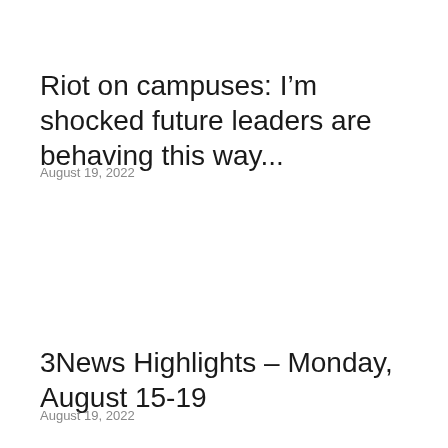Riot on campuses: I’m shocked future leaders are behaving this way...
August 19, 2022
3News Highlights – Monday, August 15-19
August 19, 2022